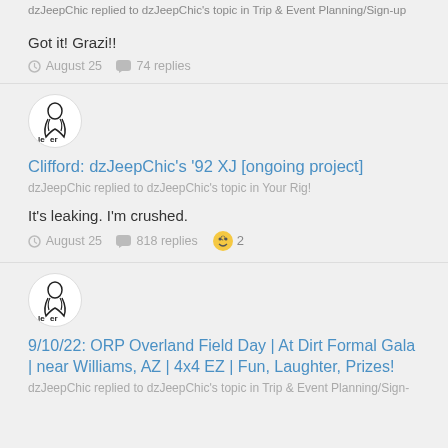dzJeepChic replied to dzJeepChic's topic in Trip & Event Planning/Sign-up
Got it! Grazi!!
August 25   74 replies
[Figure (illustration): User avatar with a stylized figure logo and text 'leer']
Clifford: dzJeepChic's '92 XJ [ongoing project]
dzJeepChic replied to dzJeepChic's topic in Your Rig!
It's leaking. I'm crushed.
August 25   818 replies   2
[Figure (illustration): User avatar with a stylized figure logo and text 'leer']
9/10/22: ORP Overland Field Day | At Dirt Formal Gala | near Williams, AZ | 4x4 EZ | Fun, Laughter, Prizes!
dzJeepChic replied to dzJeepChic's topic in Trip & Event Planning/Sign-